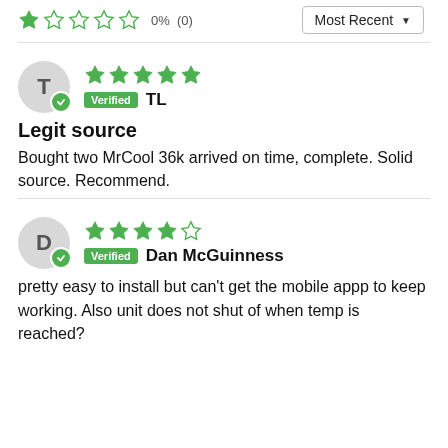★☆☆☆☆  0%  (0)
Most Recent ▼
T — Verified TL — Legit source — Bought two MrCool 36k arrived on time, complete. Solid source. Recommend.
D — Verified Dan McGuinness — pretty easy to install but can't get the mobile appp to keep working. Also unit does not shut of when temp is reached?